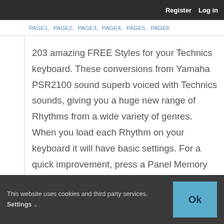Register   Log in
PAGE1, PAGE2, PAGE3, PAGE4, PAGE5, PAGE6
203 amazing FREE Styles for your Technics keyboard. These conversions from Yamaha PSR2100 sound superb voiced with Technics sounds, giving you a huge new range of Rhythms from a wide variety of genres. When you load each Rhythm on your keyboard it will have basic settings. For a quick improvement, press a Panel Memory and you can then go further by re-voicing the style and saving new
This website uses cookies and third party services. Settings ∨
Ok